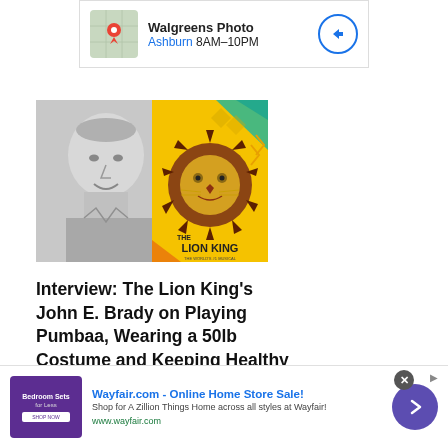[Figure (screenshot): Walgreens Photo ad banner showing map pin icon, store name, Ashburn location with 8AM-10PM hours, and navigation arrow button]
[Figure (photo): Split image: left half shows black-and-white photo of a smiling bald man; right half shows The Lion King musical poster with lion face illustration on yellow background]
Interview: The Lion King's John E. Brady on Playing Pumbaa, Wearing a 50lb Costume and Keeping Healthy on Tour
[Figure (screenshot): Wayfair.com advertisement banner: 'Wayfair.com - Online Home Store Sale!' with purple bedroom furniture image thumbnail, tagline 'Shop for A Zillion Things Home across all styles at Wayfair!', URL www.wayfair.com, close button, ad icon, and blue navigation arrow button]